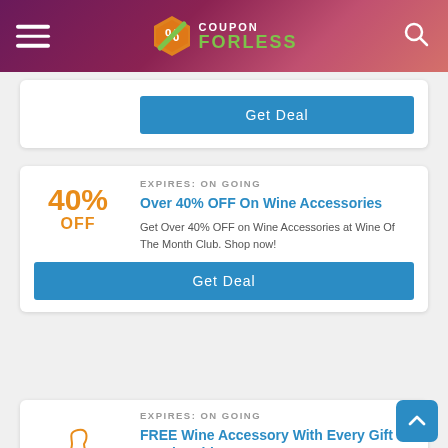COUPON FORLESS
OFF
Get Deal
EXPIRES: ON GOING
Over 40% OFF On Wine Accessories
Get Over 40% OFF on Wine Accessories at Wine Of The Month Club. Shop now!
40% OFF
Get Deal
EXPIRES: ON GOING
FREE Wine Accessory With Every Gift Membership
Get FREE Wine Accessoru with Every Gift